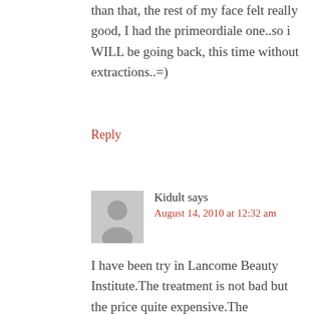than that, the rest of my face felt really good, I had the primeordiale one..so i WILL be going back, this time without extractions..=)
Reply
[Figure (illustration): Default user avatar silhouette in grey square]
Kidult says
August 14, 2010 at 12:32 am
I have been try in Lancome Beauty Institute.The treatment is not bad but the price quite expensive.The treatment cost RM260 and the eye treatment is RM120.I have both